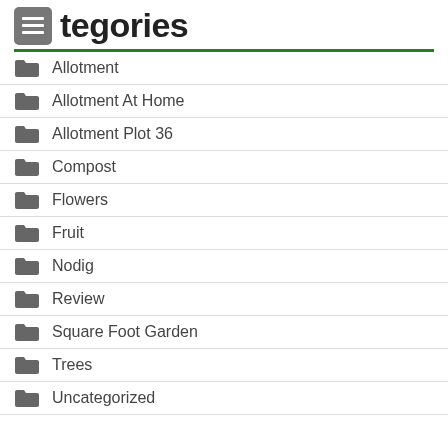Categories
Allotment
Allotment At Home
Allotment Plot 36
Compost
Flowers
Fruit
Nodig
Review
Square Foot Garden
Trees
Uncategorized